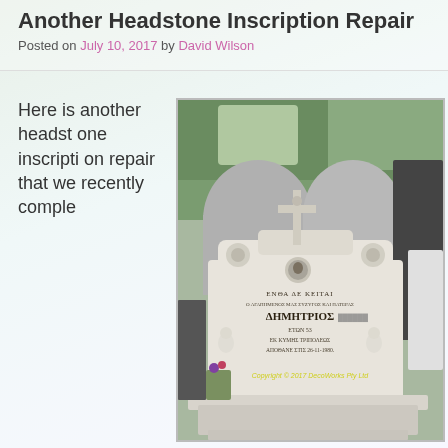Another Headstone Inscription Repair
Posted on July 10, 2017 by David Wilson
Here is another headstone inscription repair that we recently comple
[Figure (photo): A marble headstone with Greek inscription and a cross on top, surrounded by other gravestones in a cemetery. The headstone features angel figurines on the sides and reads 'ΕΝΘΑ ΔΕ ΚΕΙΤΑΙ' with the name ΔΗΜΗΤΡΙΟΣ. Copyright © 2017 DecoWorks Pty Ltd watermark visible.]